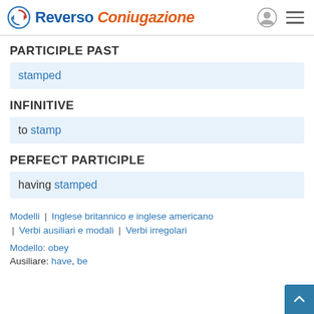Reverso Coniugazione
PARTICIPLE PAST
stamped
INFINITIVE
to stamp
PERFECT PARTICIPLE
having stamped
Modelli | Inglese britannico e inglese americano
| Verbi ausiliari e modali | Verbi irregolari
Modello: obey
Ausiliare: have, be